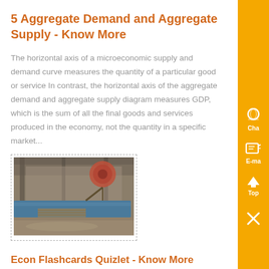5 Aggregate Demand and Aggregate Supply - Know More
The horizontal axis of a microeconomic supply and demand curve measures the quantity of a particular good or service In contrast, the horizontal axis of the aggregate demand and aggregate supply diagram measures GDP, which is the sum of all the final goods and services produced in the economy, not the quantity in a specific market...
[Figure (photo): A photograph showing industrial or construction equipment, possibly a factory or warehouse interior with blue metal beams and machinery.]
Econ Flashcards Quizlet - Know More